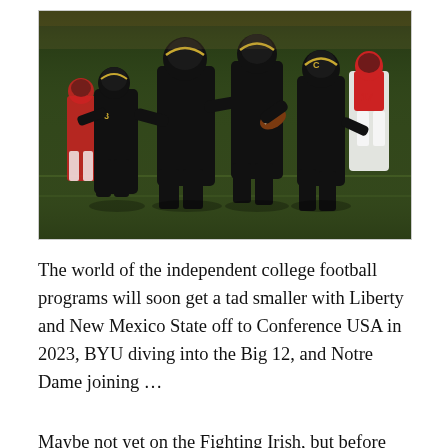[Figure (photo): College football players in black uniforms running on a green field during a game, with players in red and white uniforms in the background.]
The world of the independent college football programs will soon get a tad smaller with Liberty and New Mexico State off to Conference USA in 2023, BYU diving into the Big 12, and Notre Dame joining ...
Maybe not yet on the Fighting Irish, but before